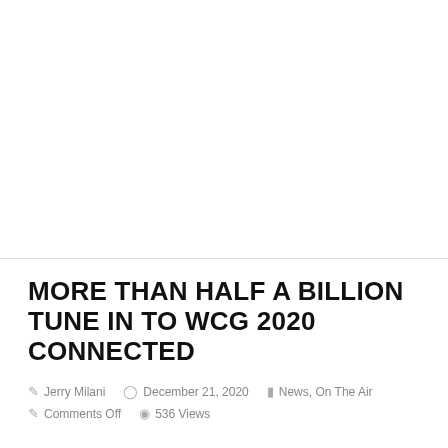MORE THAN HALF A BILLION TUNE IN TO WCG 2020 CONNECTED
Jerry Milani   December 21, 2020   News, On The Air   Comments Off   536 Views